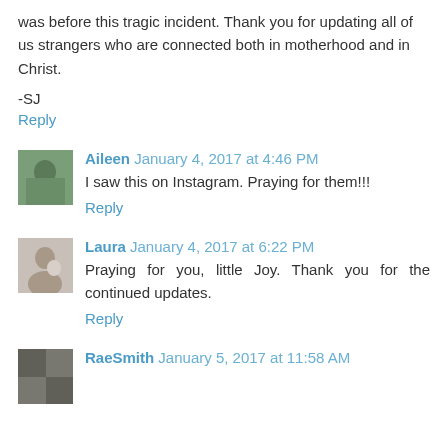was before this tragic incident. Thank you for updating all of us strangers who are connected both in motherhood and in Christ.
-SJ
Reply
Aileen January 4, 2017 at 4:46 PM
I saw this on Instagram. Praying for them!!!
Reply
Laura January 4, 2017 at 6:22 PM
Praying for you, little Joy. Thank you for the continued updates.
Reply
RaeSmith January 5, 2017 at 11:58 AM